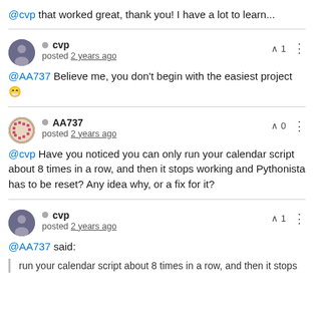@cvp that worked great, thank you! I have a lot to learn...
cvp
posted 2 years ago
@AA737 Believe me, you don't begin with the easiest project 😁
AA737
posted 2 years ago
@cvp Have you noticed you can only run your calendar script about 8 times in a row, and then it stops working and Pythonista has to be reset? Any idea why, or a fix for it?
cvp
posted 2 years ago
@AA737 said:
run your calendar script about 8 times in a row, and then it stops